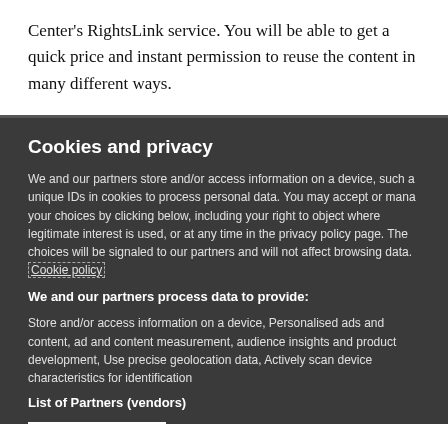Center's RightsLink service. You will be able to get a quick price and instant permission to reuse the content in many different ways.
Cookies and privacy
We and our partners store and/or access information on a device, such as unique IDs in cookies to process personal data. You may accept or manage your choices by clicking below, including your right to object where legitimate interest is used, or at any time in the privacy policy page. These choices will be signaled to our partners and will not affect browsing data. Cookie policy
We and our partners process data to provide:
Store and/or access information on a device, Personalised ads and content, ad and content measurement, audience insights and product development, Use precise geolocation data, Actively scan device characteristics for identification
List of Partners (vendors)
I Accept